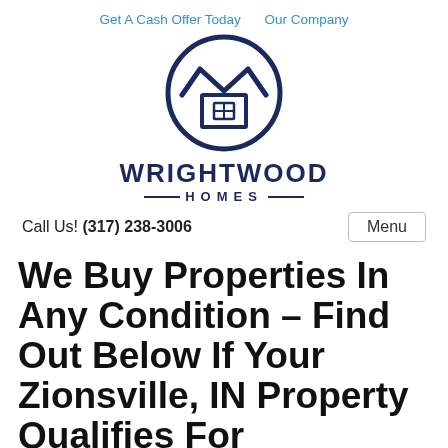Get A Cash Offer Today   Our Company
[Figure (logo): Wrightwood Homes logo: circular emblem with stylized W and house icon in dark navy blue, with company name WRIGHTWOOD HOMES below]
Call Us! (317) 238-3006
Menu
We Buy Properties In Any Condition – Find Out Below If Your Zionsville, IN Property Qualifies For